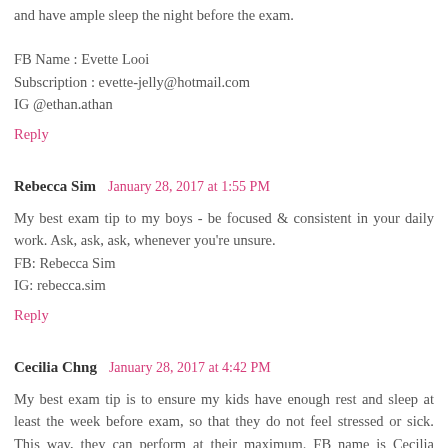and have ample sleep the night before the exam.
FB Name : Evette Looi
Subscription : evette-jelly@hotmail.com
IG @ethan.athan
Reply
Rebecca Sim  January 28, 2017 at 1:55 PM
My best exam tip to my boys - be focused & consistent in your daily work. Ask, ask, ask, whenever you're unsure.
FB: Rebecca Sim
IG: rebecca.sim
Reply
Cecilia Chng  January 28, 2017 at 4:42 PM
My best exam tip is to ensure my kids have enough rest and sleep at least the week before exam, so that they do not feel stressed or sick. This way, they can perform at their maximum. FB name is Cecilia Chng. name used to